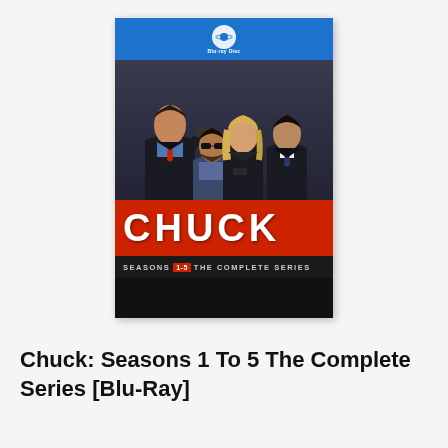[Figure (photo): Blu-ray DVD cover for Chuck: Seasons 1-5 The Complete Series. Shows four characters in spy/action poses on a dark background. Large red band displays 'CHUCK' in white bold letters. Blue Blu-ray Disc logo at top. Text reads 'SEASONS 1-5 THE COMPLETE SERIES' at bottom of cover.]
Chuck: Seasons 1 To 5 The Complete Series [Blu-Ray]